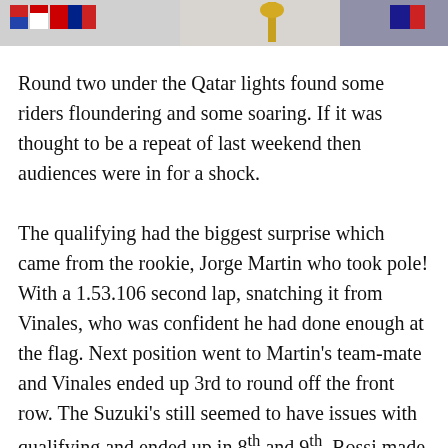[Figure (photo): Partial photo strip at top of page showing flags or racing imagery]
Round two under the Qatar lights found some riders floundering and some soaring. If it was thought to be a repeat of last weekend then audiences were in for a shock.
The qualifying had the biggest surprise which came from the rookie, Jorge Martin who took pole! With a 1.53.106 second lap, snatching it from Vinales, who was confident he had done enough at the flag. Next position went to Martin's team-mate and Vinales ended up 3rd to round off the front row. The Suzuki's still seemed to have issues with qualifying and ended up in 8th and 9th. Rossi made changes to his bike which turned out to hinder his chances at